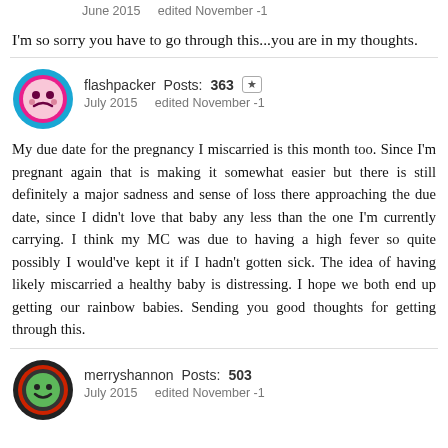June 2015    edited November -1
I'm so sorry you have to go through this...you are in my thoughts.
flashpacker  Posts: 363  July 2015    edited November -1
My due date for the pregnancy I miscarried is this month too. Since I'm pregnant again that is making it somewhat easier but there is still definitely a major sadness and sense of loss there approaching the due date, since I didn't love that baby any less than the one I'm currently carrying. I think my MC was due to having a high fever so quite possibly I would've kept it if I hadn't gotten sick. The idea of having likely miscarried a healthy baby is distressing. I hope we both end up getting our rainbow babies. Sending you good thoughts for getting through this.
merryshannon  Posts: 503  July 2015    edited November -1